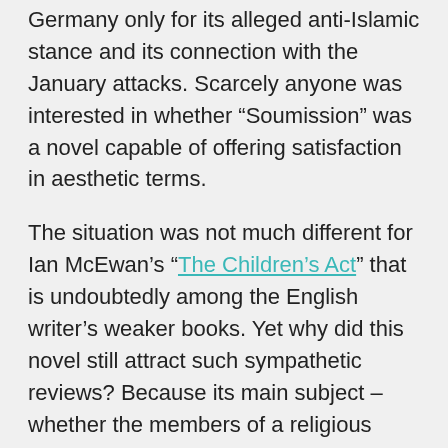Germany only for its alleged anti-Islamic stance and its connection with the January attacks. Scarcely anyone was interested in whether “Soumission” was a novel capable of offering satisfaction in aesthetic terms.
The situation was not much different for Ian McEwan’s “The Children’s Act” that is undoubtedly among the English writer’s weaker books. Yet why did this novel still attract such sympathetic reviews? Because its main subject – whether the members of a religious community were allowed to refuse life-saving medical treatment because of their religious beliefs – wonderfully fits in with a discussion field that reflects on the role of religion in secularized societies. That “The Children’s Act” is only based on this motif and otherwise hardly presents more than outrageous links in the plot was rarely discussed by those who would be